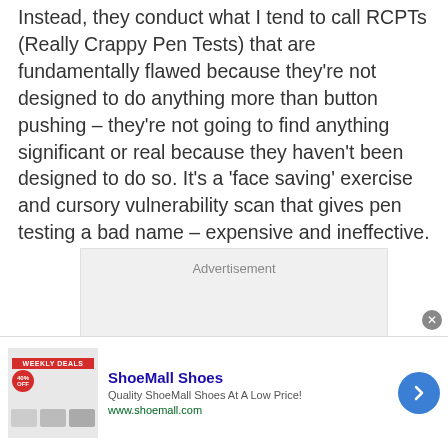Instead, they conduct what I tend to call RCPTs (Really Crappy Pen Tests) that are fundamentally flawed because they're not designed to do anything more than button pushing – they're not going to find anything significant or real because they haven't been designed to do so. It's a 'face saving' exercise and cursory vulnerability scan that gives pen testing a bad name – expensive and ineffective.
[Figure (other): Advertisement placeholder box with light grey background]
[Figure (other): Bottom banner advertisement for ShoeMall Shoes with weekly deals badge, shoe images, title 'ShoeMall Shoes', description 'Quality ShoeMall Shoes At A Low Price!', URL www.shoemall.com, and a blue circular arrow button]